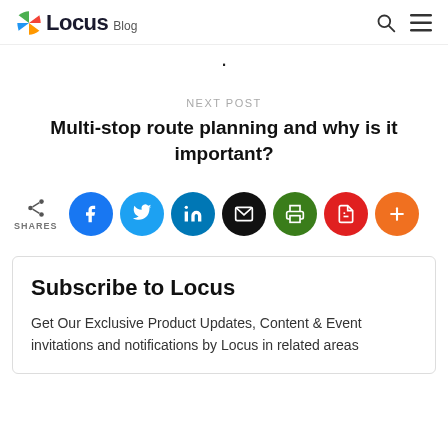Locus Blog
·
NEXT POST
Multi-stop route planning and why is it important?
[Figure (infographic): Social share buttons: share icon with SHARES label, followed by circular icon buttons for Facebook, Twitter, LinkedIn, Email, Print, PDF, and More (+)]
Subscribe to Locus
Get Our Exclusive Product Updates, Content & Event invitations and notifications by Locus in related areas